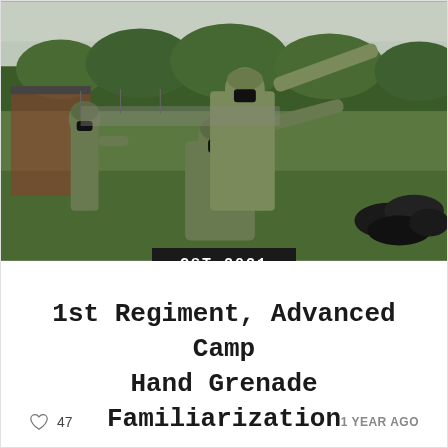[Figure (photo): Military soldiers in camouflage uniforms and black face masks performing hand grenade training at an outdoor range. One soldier is kneeling and pointing, another stands behind. A third soldier stands in the background to the left. Sandbags are visible on the right. Trees and overcast sky in background.]
CST 2021
1st Regiment, Advanced Camp Hand Grenade Familiarization
♡ 47    1 YEAR AGO